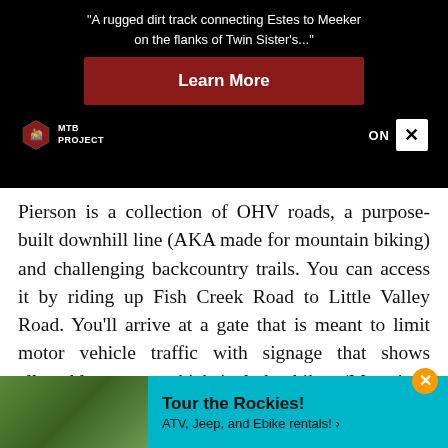[Figure (infographic): MTB Project advertisement banner on black background with quote 'A rugged dirt track connecting Estes to Meeker on the flanks of Twin Sister's...', a dark red Learn More button, MTB Project logo, and ON X badge]
Pierson is a collection of OHV roads, a purpose-built downhill line (AKA made for mountain biking) and challenging backcountry trails. You can access it by riding up Fish Creek Road to Little Valley Road. You'll arrive at a gate that is meant to limit motor vehicle traffic with signage that shows allowable access, which includes bikes (Motorized vehicle access beyond this point is limited to property owners in the Pierson the climb u re any
[Figure (infographic): Tour the Rockies! ATV, Jeep, and Ebike rentals! advertisement banner in teal/cyan color with thumbnail image of off-road vehicle]